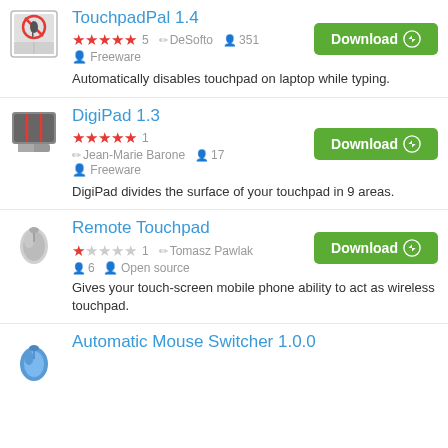TouchpadPal 1.4 — 5 stars (5), DeSofto, 351 users, Freeware. Automatically disables touchpad on laptop while typing.
DigiPad 1.3 — 5 stars (1), Jean-Marie Barone, 17 users, Freeware. DigiPad divides the surface of your touchpad in 9 areas.
Remote Touchpad — 1 star (1), Tomasz Pawlak, 6 users, Open source. Gives your touch-screen mobile phone ability to act as wireless touchpad.
Automatic Mouse Switcher 1.0.0